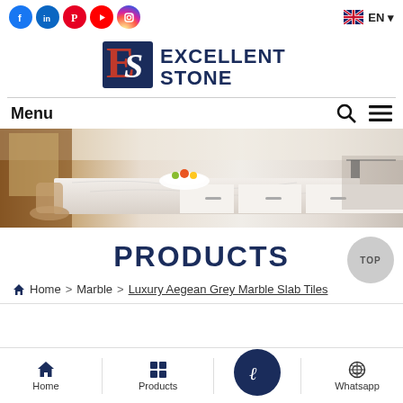Social media icons: Facebook, LinkedIn, Pinterest, YouTube, Instagram | EN language selector
[Figure (logo): Excellent Stone logo with ES monogram in red and blue with text EXCELLENT STONE]
Menu
[Figure (photo): Kitchen interior with marble countertop, white cabinets, fruits and bowl]
PRODUCTS
Home > Marble > Luxury Aegean Grey Marble Slab Tiles
Home | Products | (logo button) | Whatsapp